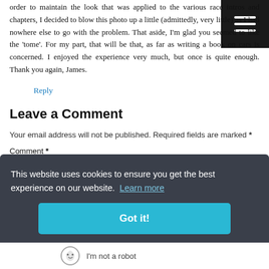order to maintain  the look  that was applied to the various race intros and chapters, I decided to blow this photo up a little (admittedly, very little) as I had nowhere else to go with the problem. That aside, I'm glad you seemed to like the 'tome'. For my part, that will be that, as far as writing a book on cars is concerned. I enjoyed the experience very much, but once is quite enough. Thank you again, James.
Reply
Leave a Comment
Your email address will not be published. Required fields are marked *
Comment *
[Figure (screenshot): Cookie consent banner overlay reading 'This website uses cookies to ensure you get the best experience on our website. Learn more' with a 'Got it!' button]